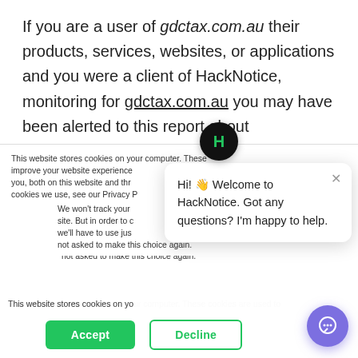If you are a user of gdctax.com.au their products, services, websites, or applications and you were a client of HackNotice, monitoring for gdctax.com.au you may have been alerted to this report about gdctax.com.au . HackNotice is a service that provides data, information, and monitoring that helps our clients recover from and remediate data breaches,
This website stores cookies on your computer. These cookies are used to improve your website experience and provide more personalized services to you, both on this website and through other media. To find out more about the cookies we use, see our Privacy Policy.
We won't track your information when you visit our site. But in order to comply with your preferences, we'll have to use just one tiny cookie so that you're not asked to make this choice again.
[Figure (other): HackNotice chat popup with H logo icon in dark circle, close X button, and text: Hi! Welcome to HackNotice. Got any questions? I'm happy to help.]
[Figure (other): Accept (green filled) and Decline (green outline) cookie consent buttons, and a purple circular chat launcher button in bottom right]